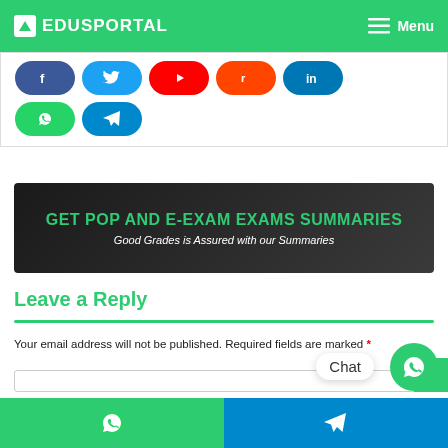EDUSPORTAL   Menu
[Figure (screenshot): Social media sharing buttons: Facebook, Twitter, YouTube, Reddit, LinkedIn (top row), WhatsApp and Telegram (bottom row)]
[Figure (infographic): Green and dark banner reading: GET POP AND E-EXAM EXAMS SUMMARIES / Good Grades is Assured with our Summaries]
Leave a Reply
Your email address will not be published. Required fields are marked *
WhatsApp | Telegram bottom share bar